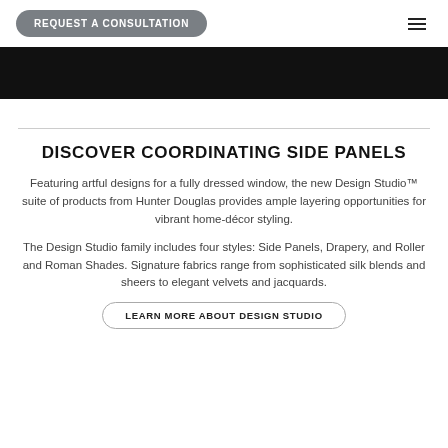REQUEST A CONSULTATION
[Figure (photo): Black banner/hero image area]
DISCOVER COORDINATING SIDE PANELS
Featuring artful designs for a fully dressed window, the new Design Studio™ suite of products from Hunter Douglas provides ample layering opportunities for vibrant home-décor styling.
The Design Studio family includes four styles: Side Panels, Drapery, and Roller and Roman Shades. Signature fabrics range from sophisticated silk blends and sheers to elegant velvets and jacquards.
LEARN MORE ABOUT DESIGN STUDIO